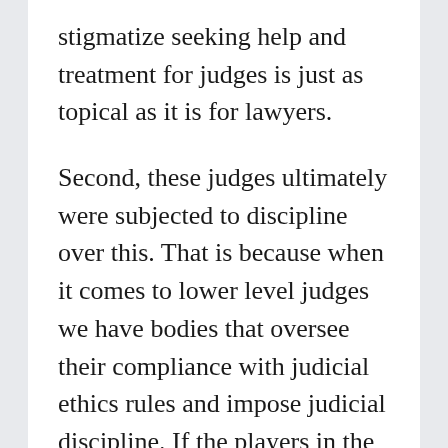stigmatize seeking help and treatment for judges is just as topical as it is for lawyers.
Second, these judges ultimately were subjected to discipline over this. That is because when it comes to lower level judges we have bodies that oversee their compliance with judicial ethics rules and impose judicial discipline. If the players in the events outlined in the Indiana opinion were not Indiana state court judges, but instead were Justice Kavanagh, Justice Alito, and Justice Kagan experiencing a